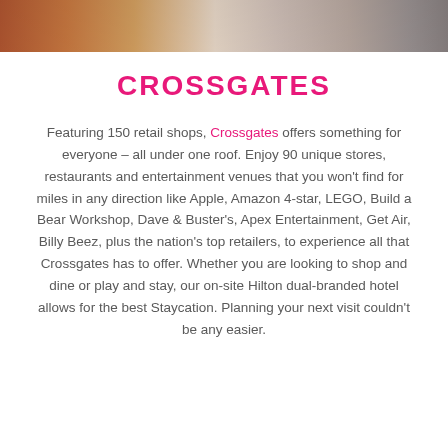[Figure (photo): Partial view of a shopping mall interior, cropped at the top of the page]
CROSSGATES
Featuring 150 retail shops, Crossgates offers something for everyone – all under one roof. Enjoy 90 unique stores, restaurants and entertainment venues that you won't find for miles in any direction like Apple, Amazon 4-star, LEGO, Build a Bear Workshop, Dave & Buster's, Apex Entertainment, Get Air, Billy Beez, plus the nation's top retailers, to experience all that Crossgates has to offer. Whether you are looking to shop and dine or play and stay, our on-site Hilton dual-branded hotel allows for the best Staycation. Planning your next visit couldn't be any easier.